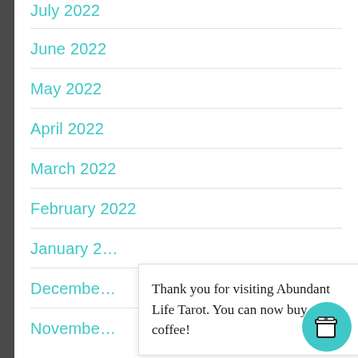July 2022
June 2022
May 2022
April 2022
March 2022
February 2022
January 2022
December
November
Thank you for visiting Abundant Life Tarot. You can now buy me a coffee!